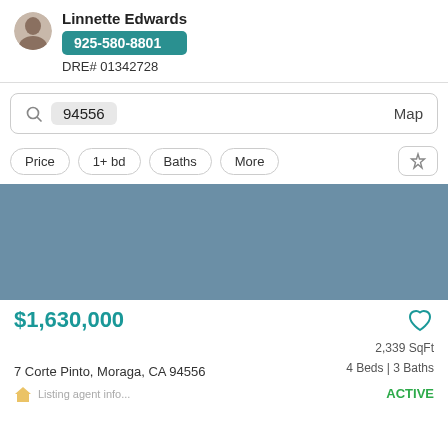[Figure (photo): Agent profile photo of Linnette Edwards]
Linnette Edwards
925-580-8801
DRE# 01342728
94556
Map
Price
1+ bd
Baths
More
[Figure (photo): Listing property photo placeholder — steel blue rectangle]
$1,630,000
2,339 SqFt
7 Corte Pinto, Moraga, CA 94556
4 Beds | 3 Baths
ACTIVE